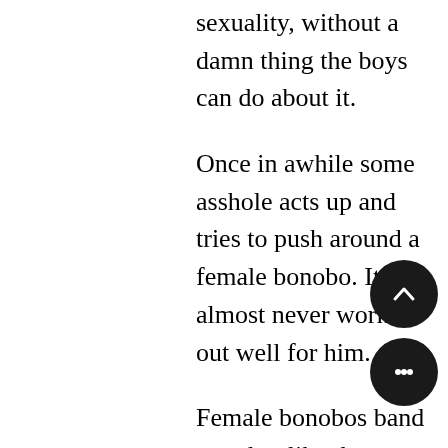sexuality, without a damn thing the boys can do about it.
Once in awhile some asshole acts up and tries to push around a female bonobo. It almost never works out well for him.
Female bonobos band together like the women in the Pat Benatar video and chase the predator off. They will assault any males with the notion in their silly little heads that they should dominate females and when The Girls bring down a forest antelope guess who eats first? Not the males, that's for damn sure. (Take note, Indian men!) They throw temper tantrums in the trees while the girls feast first